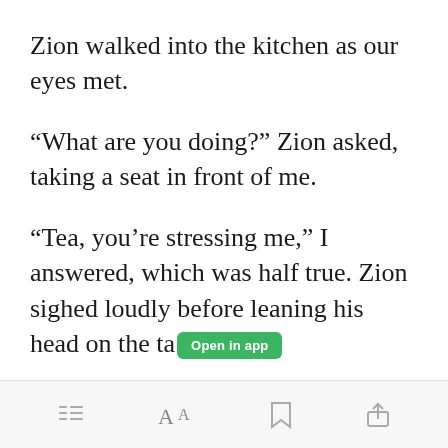Zion walked into the kitchen as our eyes met.
“What are you doing?” Zion asked, taking a seat in front of me.
“Tea, you’re stressing me,” I answered, which was half true. Zion sighed loudly before leaning his head on the ta[Open in app]
Open in app | menu | font | bookmark | share